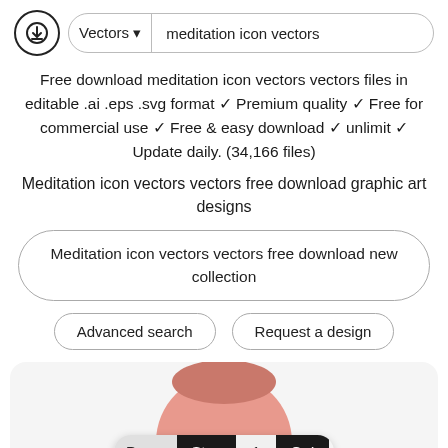Vectors ▾  meditation icon vectors
Free download meditation icon vectors vectors files in editable .ai .eps .svg format ✓ Premium quality ✓ Free for commercial use ✓ Free & easy download ✓ unlimit ✓ Update daily. (34,166 files)
Meditation icon vectors vectors free download graphic art designs
Meditation icon vectors vectors free download new collection
Advanced search   Request a design
[Figure (illustration): Partial meditation figure face illustration in a rounded card, with a page navigation bar (Page: Stop 1 Go!), an Advance Search button, and social share buttons (Facebook, Twitter, plus).]